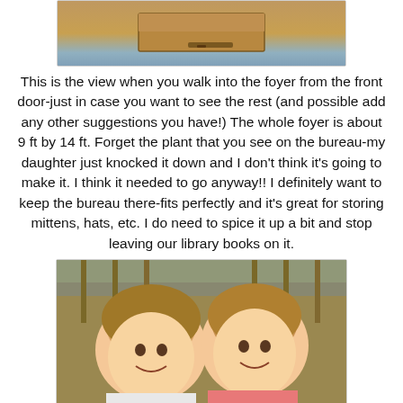[Figure (photo): Top portion of a photo showing a wooden bureau/dresser with a drawer, partially visible]
This is the view when you walk into the foyer from the front door-just in case you want to see the rest (and possible add any other suggestions you have!) The whole foyer is about 9 ft by 14 ft. Forget the plant that you see on the bureau-my daughter just knocked it down and I don't think it's going to make it. I think it needed to go anyway!! I definitely want to keep the bureau there-fits perfectly and it's great for storing mittens, hats, etc. I do need to spice it up a bit and stop leaving our library books on it.
[Figure (photo): Two young girls smiling at the camera, close together, with wooden furniture visible in the background]